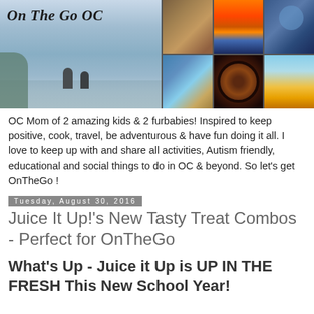[Figure (photo): Blog header banner for 'On The Go OC'. Left side shows a beach scene with children playing on the shore under a blue-grey sky. Right side is a 3x2 grid of lifestyle photos: food/grilled items, sunset sky, woman with sunglasses, outdoor/playground scene, colorful donut held in hands, and a cocktail drink.]
OC Mom of 2 amazing kids & 2 furbabies! Inspired to keep positive, cook, travel, be adventurous & have fun doing it all. I love to keep up with and share all activities, Autism friendly, educational and social things to do in OC & beyond. So let's get OnTheGo !
Tuesday, August 30, 2016
Juice It Up!'s New Tasty Treat Combos - Perfect for OnTheGo
What's Up - Juice it Up is UP IN THE FRESH This New School Year!